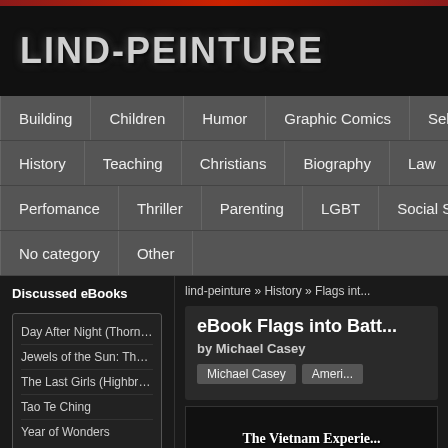LIND-PEINTURE
Building | Children | Humor | Graphic Comics | Self-Help
History | Teaching | Christians | Biography | Law | Tr...
Perfomance | Thriller | Parenting | LGBT | Social Sciences
No category | Other
Discussed eBooks
Day After Night (Thorndike Pre...
Jewels of the Sun: The Gallag...
The Last Girls (Highbridge Dist...
Tao Te Ching
Year of Wonders
lind-peinture » History » Flags int...
eBook Flags into Batt...
by Michael Casey
Michael Casey   Ameri...
[Figure (photo): Book cover showing 'The Vietnam Experience' text on dark background]